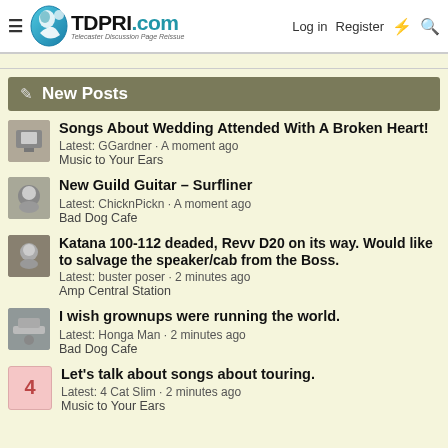TDPRI.com - Telecaster Discussion Page Reissue | Log in | Register
New Posts
Songs About Wedding Attended With A Broken Heart!
Latest: GGardner · A moment ago
Music to Your Ears
New Guild Guitar - Surfliner
Latest: ChicknPickn · A moment ago
Bad Dog Cafe
Katana 100-112 deaded, Revv D20 on its way. Would like to salvage the speaker/cab from the Boss.
Latest: buster poser · 2 minutes ago
Amp Central Station
I wish grownups were running the world.
Latest: Honga Man · 2 minutes ago
Bad Dog Cafe
Let's talk about songs about touring.
Latest: 4 Cat Slim · 2 minutes ago
Music to Your Ears